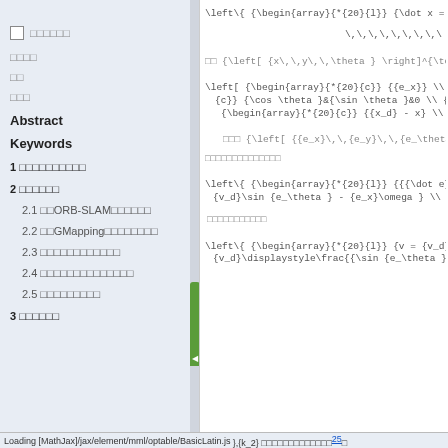□ □□□□□
□□□□
□□
□□□
Abstract
Keywords
1 □□□□□□□□□□
2 □□□□□□
2.1 □□ORB-SLAM□□□□□□
2.2 □□GMapping□□□□□□□□
2.3 □□□□□□□□□□□□
2.4 □□□□□□□□□□□□□□
2.5 □□□□□□□□□
3 □□□□□□
□□□□□□□□□□□□□□
□□□□□□□□□□□
Loading [MathJax]/jax/element/mml/optable/BasicLatin.js
},{k_2} □□□□□□□□□□□□□[25]□